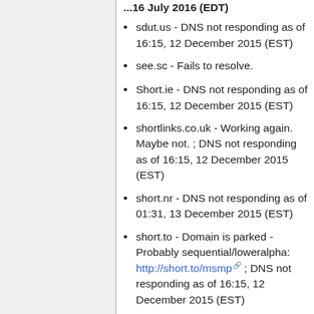sdut.us - DNS not responding as of 16:15, 12 December 2015 (EST)
see.sc - Fails to resolve.
Short.ie - DNS not responding as of 16:15, 12 December 2015 (EST)
shortlinks.co.uk - Working again. Maybe not. ; DNS not responding as of 16:15, 12 December 2015 (EST)
short.nr - DNS not responding as of 01:31, 13 December 2015 (EST)
short.to - Domain is parked - Probably sequential/loweralpha: http://short.to/msmp ; DNS not responding as of 16:15, 12 December 2015 (EST)
Short.Url - DNS not responding as of 01:26, 7 December 2015 (EST)
shortxlink.com - DNS not responding as of 15:48, 15 May 2016 (EDT)